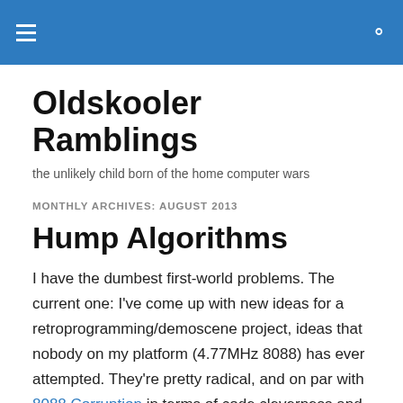Oldskooler Ramblings
Oldskooler Ramblings
the unlikely child born of the home computer wars
MONTHLY ARCHIVES: AUGUST 2013
Hump Algorithms
I have the dumbest first-world problems. The current one: I've come up with new ideas for a retroprogramming/demoscene project, ideas that nobody on my platform (4.77MHz 8088) has ever attempted. They're pretty radical, and on par with 8088 Corruption in terms of code cleverness and impact, except this time, I